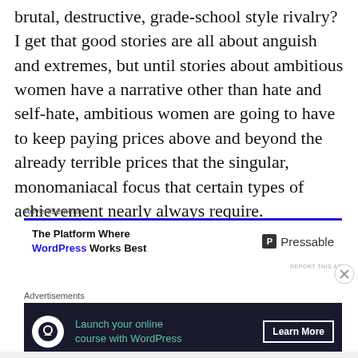brutal, destructive, grade-school style rivalry? I get that good stories are all about anguish and extremes, but until stories about ambitious women have a narrative other than hate and self-hate, ambitious women are going to have to keep paying prices above and beyond the already terrible prices that the singular, monomaniacal focus that certain types of achievement nearly always require.
Advertisements
[Figure (other): Advertisement for Pressable: 'The Platform Where WordPress Works Best' with Pressable logo on right, blue top border]
Advertisements
[Figure (other): Dark advertisement: 'Launch your online course with WordPress' with Learn More button and icon on dark navy background]